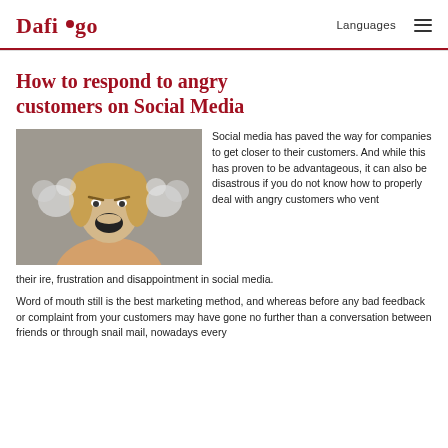Dafigo   Languages  ☰
How to respond to angry customers on Social Media
[Figure (photo): A woman with blonde hair screaming in anger with steam or smoke coming out of her ears, fists clenched, against a grey background.]
Social media has paved the way for companies to get closer to their customers. And while this has proven to be advantageous, it can also be disastrous if you do not know how to properly deal with angry customers who vent their ire, frustration and disappointment in social media.
Word of mouth still is the best marketing method, and whereas before any bad feedback or complaint from your customers may have gone no further than a conversation between friends or through snail mail, nowadays every complaint is directly available for the world to see.